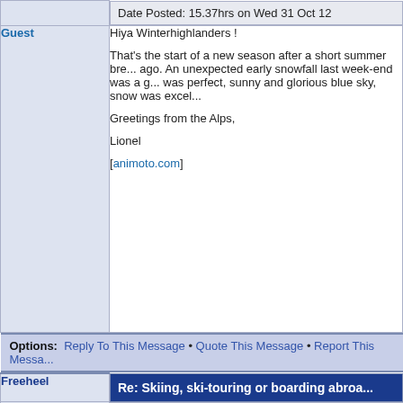Date Posted: 15.37hrs on Wed 31 Oct 12
Guest
Hiya Winterhighlanders !

That's the start of a new season after a short summer bre... ago. An unexpected early snowfall last week-end was a g... was perfect, sunny and glorious blue sky, snow was excel...

Greetings from the Alps,

Lionel

[animoto.com]
Options: Reply To This Message • Quote This Message • Report This Messa...
Re: Skiing, ski-touring or boarding abroa...
Date Posted: 12.19hrs on Tue 13 Nov 12
Freeheel
Guest
Lionel, sounds glorious...are you still telemarking occasio...

Reason I ask is I wondered if you know if there's a calend... and came across such an event where they were evidenth... greater depth.

Slàinte!

Freeheel
Options: Reply To This Message • Quote This Message • Report This Messa...
Re: Skiing, ski-touring or boarding abroa...
Lionel
Date Posted: 01.07hrs on Tue 11 Dec 12